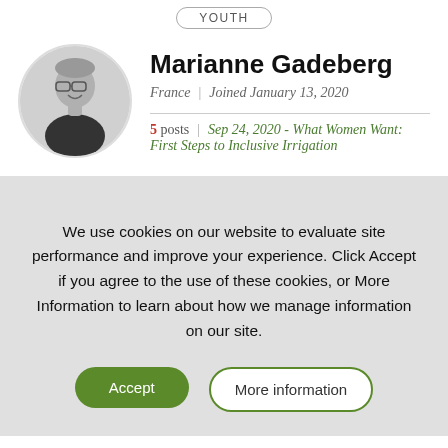YOUTH
[Figure (photo): Circular profile photo of Marianne Gadeberg, a woman with glasses and dark clothing, black and white photo]
Marianne Gadeberg
France | Joined January 13, 2020
5 posts | Sep 24, 2020 - What Women Want: First Steps to Inclusive Irrigation
We use cookies on our website to evaluate site performance and improve your experience. Click Accept if you agree to the use of these cookies, or More Information to learn about how we manage information on our site.
Accept
More information